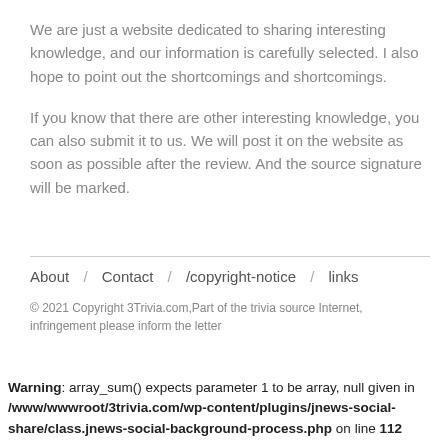We are just a website dedicated to sharing interesting knowledge, and our information is carefully selected. I also hope to point out the shortcomings and shortcomings.
If you know that there are other interesting knowledge, you can also submit it to us. We will post it on the website as soon as possible after the review. And the source signature will be marked.
About / Contact / /copyright-notice / links
© 2021 Copyright 3Trivia.com,Part of the trivia source Internet, infringement please inform the letter
Warning: array_sum() expects parameter 1 to be array, null given in /www/wwwroot/3trivia.com/wp-content/plugins/jnews-social-share/class.jnews-social-background-process.php on line 112